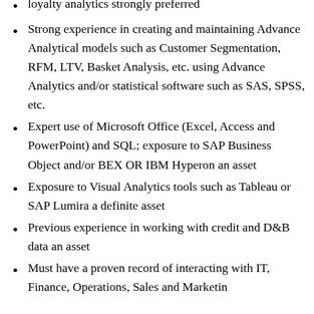loyalty analytics strongly preferred
Strong experience in creating and maintaining Advance Analytical models such as Customer Segmentation, RFM, LTV, Basket Analysis, etc. using Advance Analytics and/or statistical software such as SAS, SPSS, etc.
Expert use of Microsoft Office (Excel, Access and PowerPoint) and SQL; exposure to SAP Business Object and/or BEX OR IBM Hyperon an asset
Exposure to Visual Analytics tools such as Tableau or SAP Lumira a definite asset
Previous experience in working with credit and D&B data an asset
Must have a proven record of interacting with IT, Finance, Operations, Sales and Marketing